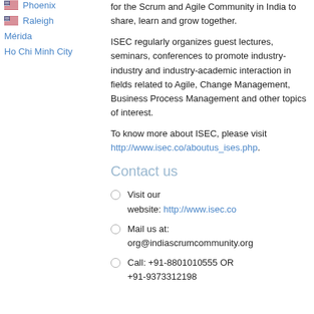Phoenix
Raleigh
Mérida
Ho Chi Minh City
for the Scrum and Agile Community in India to share, learn and grow together.
ISEC regularly organizes guest lectures, seminars, conferences to promote industry-industry and industry-academic interaction in fields related to Agile, Change Management, Business Process Management and other topics of interest.
To know more about ISEC, please visit http://www.isec.co/aboutus_ises.php.
Contact us
Visit our website: http://www.isec.co
Mail us at: org@indiascrumcommunity.org
Call: +91-8801010555 OR +91-9373312198